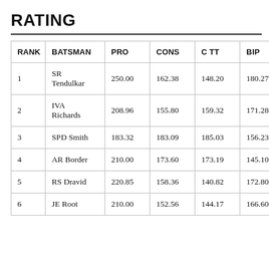RATING
| RANK | BATSMAN | PRO | CONS | C TT | BIP |
| --- | --- | --- | --- | --- | --- |
| 1 | SR Tendulkar | 250.00 | 162.38 | 148.20 | 180.27 |
| 2 | IVA Richards | 208.96 | 155.80 | 159.32 | 171.28 |
| 3 | SPD Smith | 183.32 | 183.09 | 185.03 | 156.23 |
| 4 | AR Border | 210.00 | 173.60 | 173.19 | 145.10 |
| 5 | RS Dravid | 220.85 | 158.36 | 140.82 | 172.80 |
| 6 | JE Root | 210.00 | 152.56 | 144.17 | 166.60 |